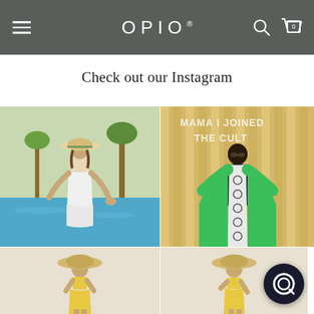OPIO navigation bar with hamburger menu, logo, search and cart icons
Check out our Instagram
[Figure (photo): Woman in white sleeveless dress and straw hat posing by a swimming pool with palm trees in background]
[Figure (photo): Woman in green abaya/kimono over black outfit with patterned dress, sunglasses, standing in front of sign reading MAMA I JOINED THE CULT]
[Figure (photo): Woman in yellow two-piece outfit and large straw hat]
[Figure (photo): Woman in yellow two-piece outfit and large straw hat, second pose]